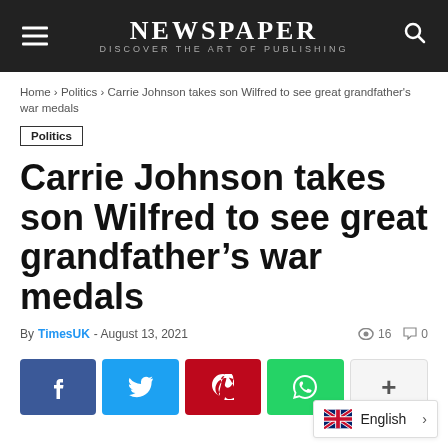NEWSPAPER — DISCOVER THE ART OF PUBLISHING
Home › Politics › Carrie Johnson takes son Wilfred to see great grandfather's war medals
Politics
Carrie Johnson takes son Wilfred to see great grandfather's war medals
By TimesUK - August 13, 2021  👁 16  💬 0
[Figure (infographic): Social sharing buttons: Facebook (f), Twitter (bird), Pinterest (P), WhatsApp (phone), and a plus (+) button for more options]
English ›